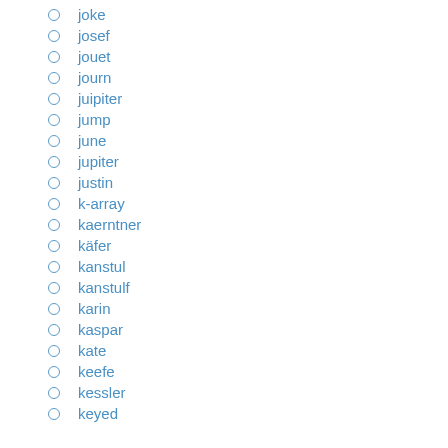joke
josef
jouet
journ
juipiter
jump
june
jupiter
justin
k-array
kaerntner
käfer
kanstul
kanstulf
karin
kaspar
kate
keefe
kessler
keyed